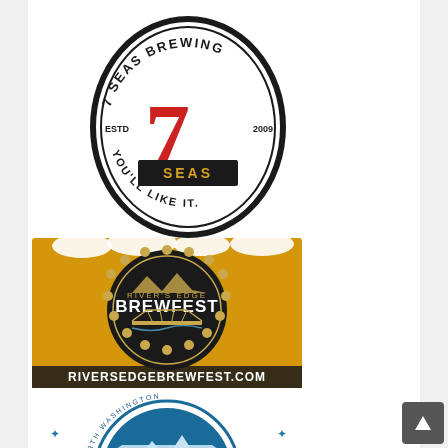[Figure (logo): 7 Seas Brewing logo: oval shape with text '7 SEAS BREWING', 'ESTD 2009', 'YOU'LL LIKE IT.' and a large red '7' with 'SEAS' banner]
[Figure (logo): River's Edge Brewfest logo: bottle cap shape on amber beer background with mountains, a bridge, and text 'RIVER'S EDGE BREWFEST' and 'RIVERSEDGEBREWFEST.COM']
[Figure (logo): Icicle Brewing Company logo: circular teal logo with mountain/icicle imagery, badge shape, text 'ICICLE BREWING COMPANY' and caption 'Craft Brewery & Tasting Room']